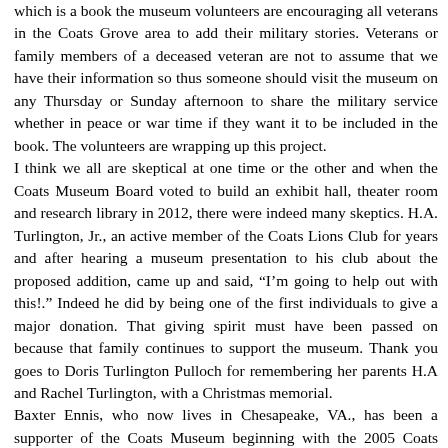which is a book the museum volunteers are encouraging all veterans in the Coats Grove area to add their military stories. Veterans or family members of a deceased veteran are not to assume that we have their information so thus someone should visit the museum on any Thursday or Sunday afternoon to share the military service whether in peace or war time if they want it to be included in the book. The volunteers are wrapping up this project.
I think we all are skeptical at one time or the other and when the Coats Museum Board voted to build an exhibit hall, theater room and research library in 2012, there were indeed many skeptics. H.A. Turlington, Jr., an active member of the Coats Lions Club for years and after hearing a museum presentation to his club about the proposed addition, came up and said, “I’m going to help out with this!.” Indeed he did by being one of the first individuals to give a major donation. That giving spirit must have been passed on because that family continues to support the museum. Thank you goes to Doris Turlington Pulloch for remembering her parents H.A and Rachel Turlington, with a Christmas memorial.
Baxter Ennis, who now lives in Chesapeake, VA., has been a supporter of the Coats Museum beginning with the 2005 Coats Centennial where